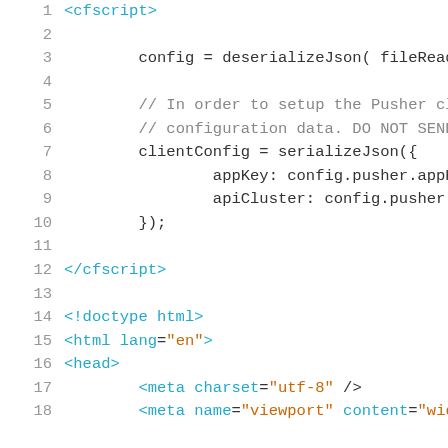Code listing showing ColdFusion/HTML source lines 1-18
1  <cfscript>
2  (blank)
3      config = deserializeJson( fileRead(
4  (blank)
5      // In order to setup the Pusher cli
6      // configuration data. DO NOT SEND
7      clientConfig = serializeJson({
8          appKey: config.pusher.appKey,
9          apiCluster: config.pusher.apiCl
10     });
11 (blank)
12 </cfscript>
13 (blank)
14 <!doctype html>
15 <html lang="en">
16 <head>
17     <meta charset="utf-8" />
18     <meta name="viewport" content="widt